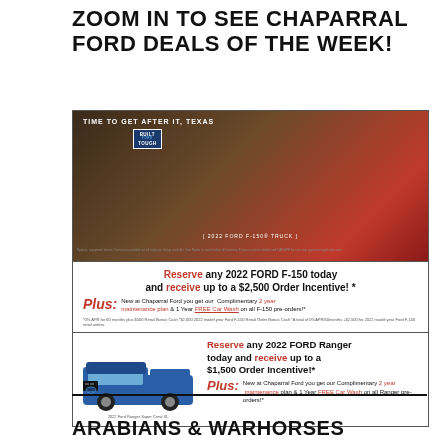ZOOM IN TO SEE CHAPARRAL FORD DEALS OF THE WEEK!
[Figure (advertisement): Chaparral Ford advertisement featuring 2022 Ford F-150 and 2022 Ford Ranger reservation deals with order incentives]
ARABIANS & WARHORSES